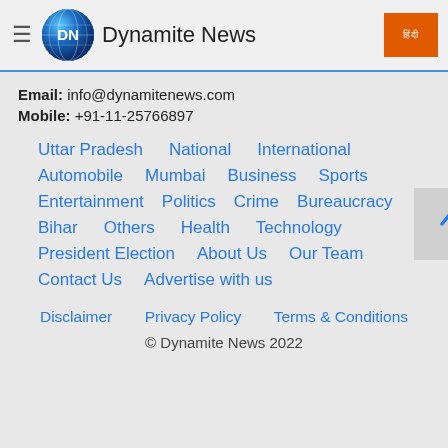Dynamite News
Email: info@dynamitenews.com
Mobile: +91-11-25766897
Uttar Pradesh   National   International
Automobile   Mumbai   Business   Sports
Entertainment   Politics   Crime   Bureaucracy
Bihar   Others   Health   Technology
President Election   About Us   Our Team
Contact Us   Advertise with us
Disclaimer   Privacy Policy   Terms & Conditions
© Dynamite News 2022